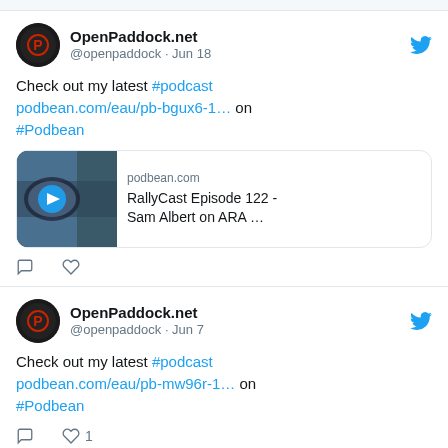[Figure (screenshot): Two tweets from OpenPaddock.net (@openpaddock). First tweet from Jun 18: 'Check out my latest #podcast podbean.com/eau/pb-bgux6-1... on #Podbean' with a media card for 'RallyCast Episode 122 - Sam Albert on ARA ...' on podbean.com. Second tweet from Jun 7: 'Check out my latest #podcast podbean.com/eau/pb-mw96r-1... on #Podbean' with a like count of 1.]